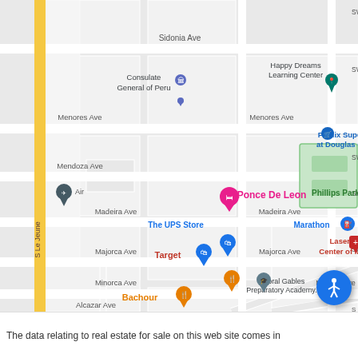[Figure (map): Google Maps street map showing Coral Gables area in Miami, Florida. Shows streets including Sidonia Ave, Menores Ave, Mendoza Ave, Madeira Ave, Majorca Ave, Minorca Ave, Alcazar Ave, and S Le Jeune. Notable landmarks include Consulate General of Peru, Happy Dreams Learning Center, Publix Super at Douglas, Phillips Park (green area), Marathon gas station, Ponce De Leon (hotel marker), The UPS Store, Target, Laser Eye Center of Miami, Coral Gables Preparatory Academy, and Bachour restaurant. Various map pins and icons visible.]
The data relating to real estate for sale on this web site comes in